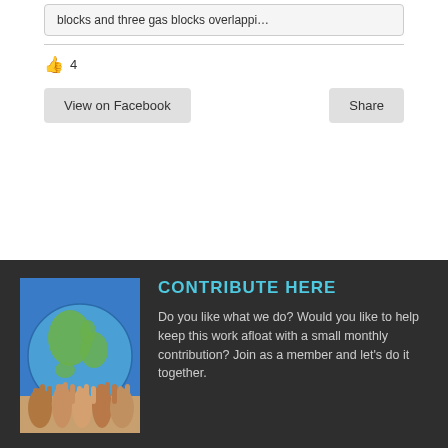blocks and three gas blocks overlappi…
👍 4
View on Facebook
Share
[Figure (photo): Hands holding a globe of the Earth against a blue sky background]
CONTRIBUTE HERE
Do you like what we do? Would you like to help keep this work afloat with a small monthly contribution? Join as a member and let's do it together.